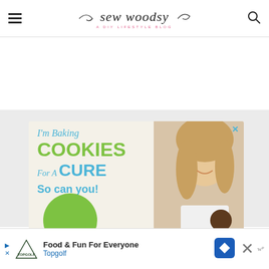sew woodsy — A DIY LIFESTYLE BLOG
[Figure (screenshot): Advertisement: I'm Baking COOKIES For A CURE So can you! — showing a smiling girl holding a cookie]
[Figure (screenshot): Bottom ad bar: Food & Fun For Everyone — Topgolf, with navigation arrow icon and close button]